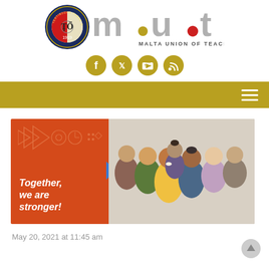[Figure (logo): Malta Union of Teachers (MUT) logo with circular emblem showing 1919 founding year and stylized m.u.t lettering with MALTA UNION OF TEACHERS tagline]
[Figure (infographic): Four social media icon circles in gold/brown: Facebook, Twitter, YouTube, RSS feed]
[Figure (infographic): Gold/olive navigation bar with hamburger menu icon (three white horizontal lines) on the right]
[Figure (photo): Banner image: left side orange/red background with abstract patterns and italic bold white text 'Together, we are stronger!'; right side shows a diverse group of smiling people]
May 20, 2021 at 11:45 am